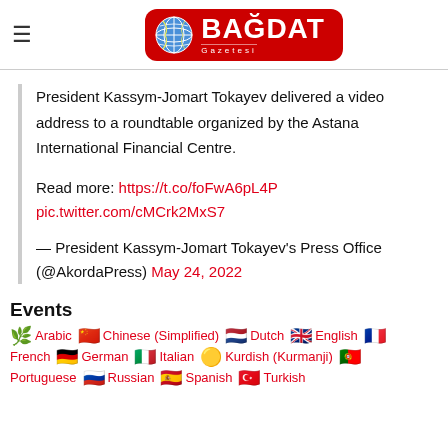BAĞDAT Gazetesi
President Kassym-Jomart Tokayev delivered a video address to a roundtable organized by the Astana International Financial Centre.
Read more: https://t.co/foFwA6pL4P pic.twitter.com/cMCrk2MxS7
— President Kassym-Jomart Tokayev's Press Office (@AkordaPress) May 24, 2022
Events
Arabic  Chinese (Simplified)  Dutch  English  French  German  Italian  Kurdish (Kurmanji)  Portuguese  Russian  Spanish  Turkish